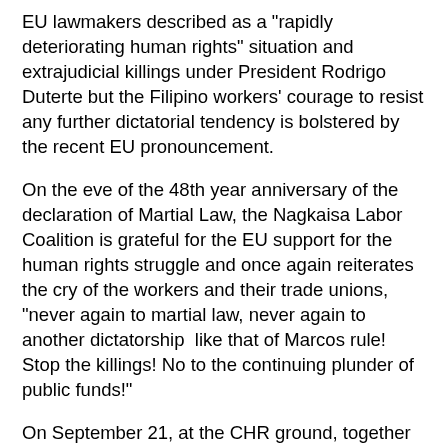EU lawmakers described as a "rapidly deteriorating human rights" situation and extrajudicial killings under President Rodrigo Duterte but the Filipino workers' courage to resist any further dictatorial tendency is bolstered by the recent EU pronouncement.
On the eve of the 48th year anniversary of the declaration of Martial Law, the Nagkaisa Labor Coalition is grateful for the EU support for the human rights struggle and once again reiterates the cry of the workers and their trade unions, "never again to martial law, never again to another dictatorship  like that of Marcos rule! Stop the killings! No to the continuing plunder of public funds!"
On September 21, at the CHR ground, together with the Movement Against the Yerrorism Act (MATA),  the trade unions and other civil society groups will remember the looting of public funds with alacrity by Marcos and his minions, the 36,000 documented tortures, 70,000 incarcerations and 3,257 known extra-judicial killings, among others,  from 1972 to 1986.
As we remember martial law, we are also prompted to ask